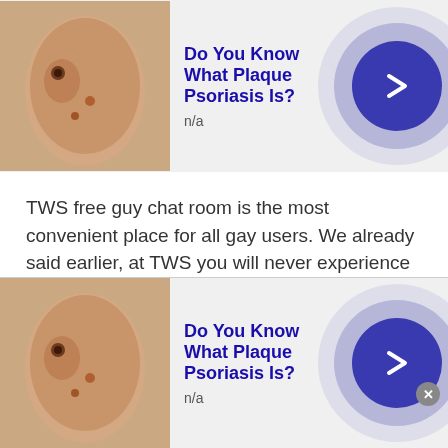[Figure (infographic): Advertisement banner: skin condition image, title 'Do You Know What Plaque Psoriasis Is?', n/a subtitle, blue arrow button]
TWS free guy chat room is the most convenient place for all gay users. We already said earlier, at TWS you will never experience any gender restriction. So, if you are a gay user and want to start a gay live chat then it's easy to connect with online friends within few seconds. Gay text and gay cam chat allows users to start an instant chat or random chat with online strangers.
So, alright, there will be no more hassle for guy...
[Figure (infographic): Advertisement banner (bottom): skin condition image, title 'Do You Know What Plaque Psoriasis Is?', n/a subtitle, blue arrow button]